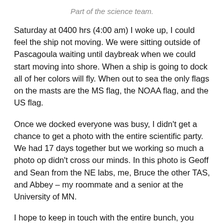Part of the science team.
Saturday at 0400 hrs (4:00 am) I woke up, I could feel the ship not moving. We were sitting outside of Pascagoula waiting until daybreak when we could start moving into shore. When a ship is going to dock all of her colors will fly. When out to sea the only flags on the masts are the MS flag, the NOAA flag, and the US flag.
Once we docked everyone was busy, I didn't get a chance to get a photo with the entire scientific party. We had 17 days together but we working so much a photo op didn't cross our minds. In this photo is Geoff and Sean from the NE labs, me, Bruce the other TAS, and Abbey – my roommate and a senior at the University of MN.
I hope to keep in touch with the entire bunch, you never know when another collaboration will surface.